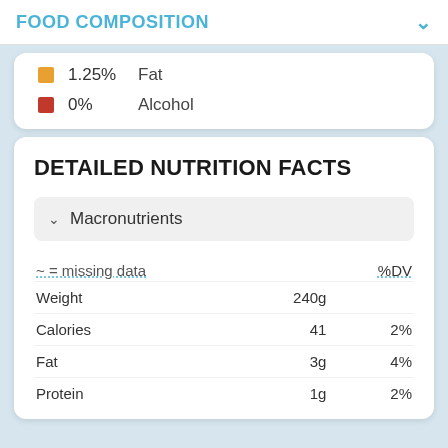FOOD COMPOSITION
1.25%  Fat
0%  Alcohol
DETAILED NUTRITION FACTS
Macronutrients
~ = missing data    %DV
|  | Amount | %DV |
| --- | --- | --- |
| Weight | 240g |  |
| Calories | 41 | 2% |
| Fat | 3g | 4% |
| Protein | 1g | 2% |